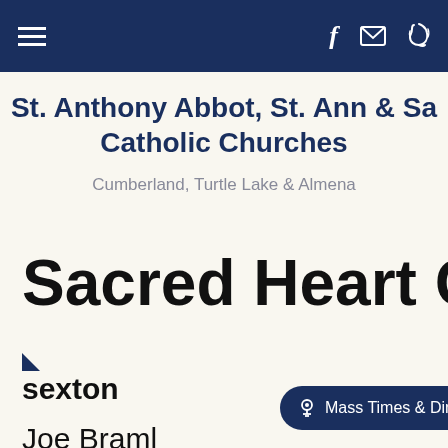Navigation bar with hamburger menu, Facebook, email, and phone icons
St. Anthony Abbot, St. Ann & Sa Catholic Churches
Cumberland, Turtle Lake & Almena
Sacred Heart Cem
sexton
[Figure (other): Mass Times & Directions button with chalice icon]
Joe Braml